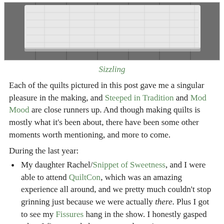[Figure (photo): A white quilt laid on a gray wooden surface, photographed from above. The quilt has a textured, light quilted pattern visible on its surface.]
Sizzling
Each of the quilts pictured in this post gave me a singular pleasure in the making, and Steeped in Tradition and Mod Mood are close runners up. And though making quilts is mostly what it's been about, there have been some other moments worth mentioning, and more to come.
During the last year:
My daughter Rachel/Snippet of Sweetness, and I were able to attend QuiltCon, which was an amazing experience all around, and we pretty much couldn't stop grinning just because we were actually there. Plus I got to see my Fissures hang in the show. I honestly gasped when I first rounded a corner and saw it.